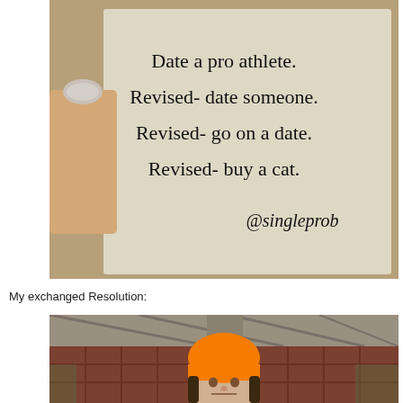[Figure (photo): Photo of a hand holding a card with text: 'Date a pro athlete. Revised- date someone. Revised- go on a date. Revised- buy a cat. @singleprob']
My exchanged Resolution:
[Figure (photo): Photo of a person wearing an orange beanie hat, standing outdoors under a structure with wooden/metal fencing in the background.]